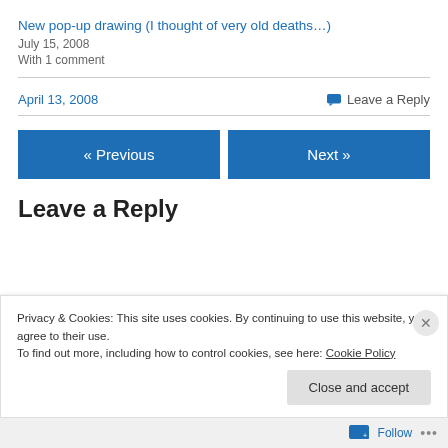New pop-up drawing (I thought of very old deaths…)
July 15, 2008
With 1 comment
April 13, 2008
Leave a Reply
« Previous
Next »
Leave a Reply
Privacy & Cookies: This site uses cookies. By continuing to use this website, you agree to their use.
To find out more, including how to control cookies, see here: Cookie Policy
Close and accept
Follow